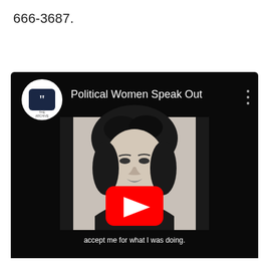666-3687.
[Figure (screenshot): YouTube video thumbnail showing a video titled 'Political Women Speak Out'. The video shows a black-and-white portrait photo of a woman with a stylized updo hairstyle and pearl necklace. A red YouTube play button is overlaid in the center. At the bottom of the video frame, white text reads: 'accept me for what I was doing.' The video player has a dark/black background. A circular channel logo with a quotation mark icon is visible in the upper left of the video card.]